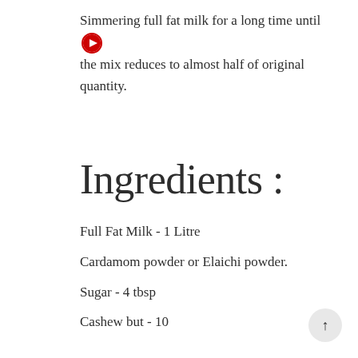Simmering full fat milk for a long time until the mix reduces to almost half of original quantity.
Ingredients :
Full Fat Milk  -  1 Litre
Cardamom powder or Elaichi powder.
Sugar  -  4 tbsp
Cashew but - 10